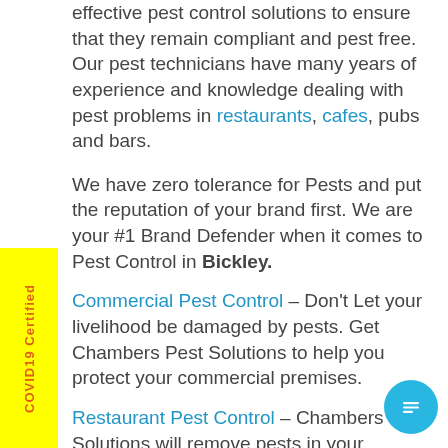effective pest control solutions to ensure that they remain compliant and pest free. Our pest technicians have many years of experience and knowledge dealing with pest problems in restaurants, cafes, pubs and bars.
We have zero tolerance for Pests and put the reputation of your brand first. We are your #1 Brand Defender when it comes to Pest Control in Bickley.
Commercial Pest Control – Don't Let your livelihood be damaged by pests. Get Chambers Pest Solutions to help you protect your commercial premises.
Restaurant Pest Control – Chambers Pest Solutions will remove pests in your restaurant and cafes and help you hold your business reputation and high...